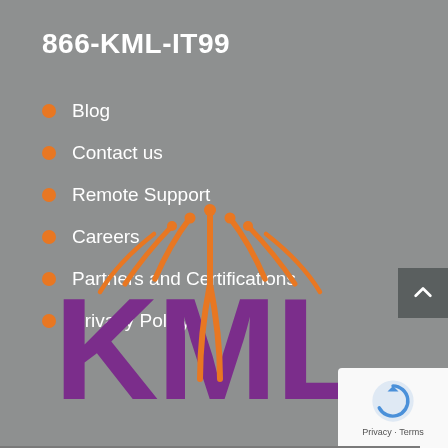866-KML-IT99
Blog
Contact us
Remote Support
Careers
Partners and Certifications
Privacy Policy
[Figure (logo): KML logo with orange circuit-board style antenna lines above purple KML letters]